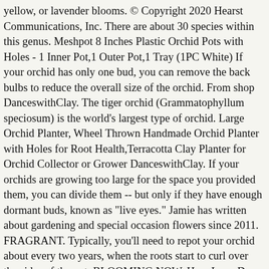yellow, or lavender blooms. © Copyright 2020 Hearst Communications, Inc. There are about 30 species within this genus. Meshpot 8 Inches Plastic Orchid Pots with Holes - 1 Inner Pot,1 Outer Pot,1 Tray (1PC White) If your orchid has only one bud, you can remove the back bulbs to reduce the overall size of the orchid. From shop DanceswithClay. The tiger orchid (Grammatophyllum speciosum) is the world's largest type of orchid. Large Orchid Planter, Wheel Thrown Handmade Orchid Planter with Holes for Root Health,Terracotta Clay Planter for Orchid Collector or Grower DanceswithClay. If your orchids are growing too large for the space you provided them, you can divide them -- but only if they have enough dormant buds, known as "live eyes." Jamie has written about gardening and special occasion flowers since 2011. FRAGRANT. Typically, you'll need to repot your orchid about every two years, when the roots start to curl over the sides of the pot. BLOOMING NOW. How Long Does It Take for a Christmas Cactus to Fully Grow? Pennington Lattice Design Pot for Orchids . It is easy to see how the pansy orchid got its nickname. This winter bloomer also goes by the common name nun's cap orchid. Free postage. FAST &